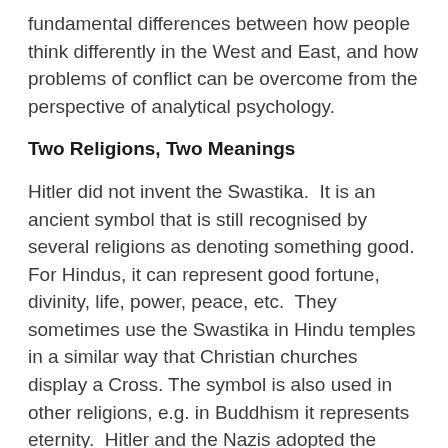fundamental differences between how people think differently in the West and East, and how problems of conflict can be overcome from the perspective of analytical psychology.
Two Religions, Two Meanings
Hitler did not invent the Swastika.  It is an ancient symbol that is still recognised by several religions as denoting something good.  For Hindus, it can represent good fortune, divinity, life, power, peace, etc.  They sometimes use the Swastika in Hindu temples in a similar way that Christian churches display a Cross. The symbol is also used in other religions, e.g. in Buddhism it represents eternity.  Hitler and the Nazis adopted the Swastika because it can